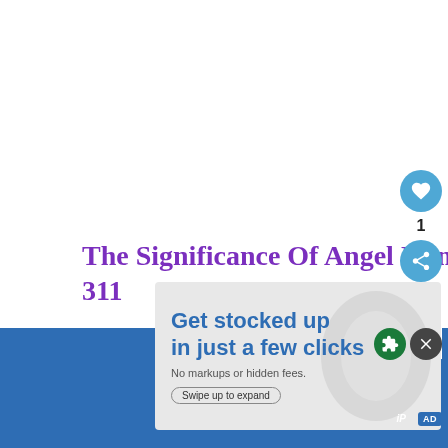[Figure (screenshot): White advertisement space at top of page]
The Significance Of Angel Number 311
The significance of number 311 is that even if some painf... t
[Figure (screenshot): What's Next widget showing Angel Number 515 Meaning...]
[Figure (screenshot): Advertisement overlay: Get stocked up in just a few clicks. No markups or hidden fees. Swipe up to expand.]